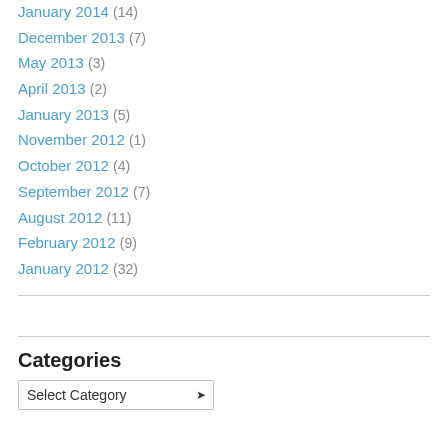January 2014 (14)
December 2013 (7)
May 2013 (3)
April 2013 (2)
January 2013 (5)
November 2012 (1)
October 2012 (4)
September 2012 (7)
August 2012 (11)
February 2012 (9)
January 2012 (32)
Categories